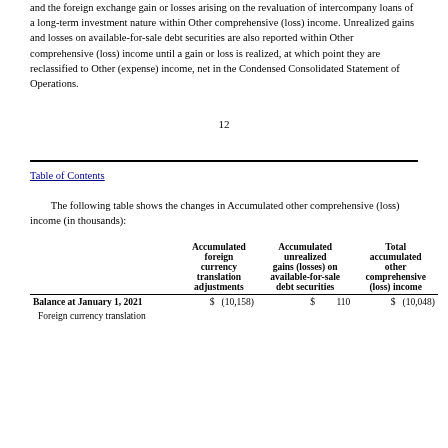and the foreign exchange gain or losses arising on the revaluation of intercompany loans of a long-term investment nature within Other comprehensive (loss) income. Unrealized gains and losses on available-for-sale debt securities are also reported within Other comprehensive (loss) income until a gain or loss is realized, at which point they are reclassified to Other (expense) income, net in the Condensed Consolidated Statement of Operations.
12
Table of Contents
The following table shows the changes in Accumulated other comprehensive (loss) income (in thousands):
|  | Accumulated foreign currency translation adjustments | Accumulated unrealized gains (losses) on available-for-sale debt securities | Total accumulated other comprehensive (loss) income |
| --- | --- | --- | --- |
| Balance at January 1, 2021 | $ (10,158) | $ 110 | $ (10,048) |
| Foreign currency translation |  |  |  |